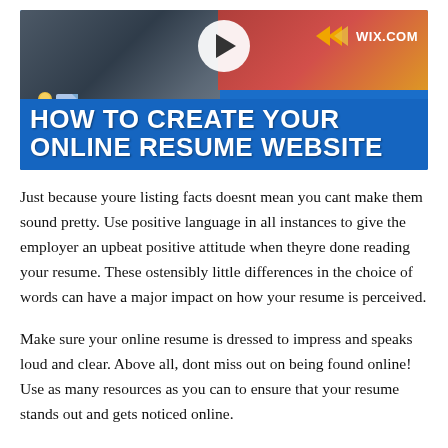[Figure (screenshot): Video thumbnail for 'How to Create Your Online Resume Website' on Wix.com, showing a play button, Wix logo with double arrows, blue background with bold white text title, and a person/document icon in the lower left.]
Just because youre listing facts doesnt mean you cant make them sound pretty. Use positive language in all instances to give the employer an upbeat positive attitude when theyre done reading your resume. These ostensibly little differences in the choice of words can have a major impact on how your resume is perceived.
Make sure your online resume is dressed to impress and speaks loud and clear. Above all, dont miss out on being found online! Use as many resources as you can to ensure that your resume stands out and gets noticed online.